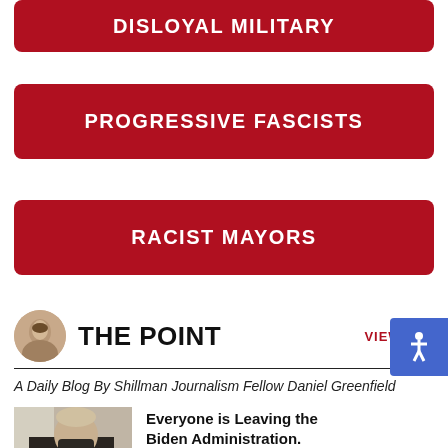DISLOYAL MILITARY
PROGRESSIVE FASCISTS
RACIST MAYORS
THE POINT
VIEW ALL
A Daily Blog By Shillman Journalism Fellow Daniel Greenfield
Everyone is Leaving the Biden Administration. What Do They Know?
[Figure (photo): Photo of Biden sitting at desk wearing a mask and suit]
[Figure (photo): Partial photo at bottom, dark image]